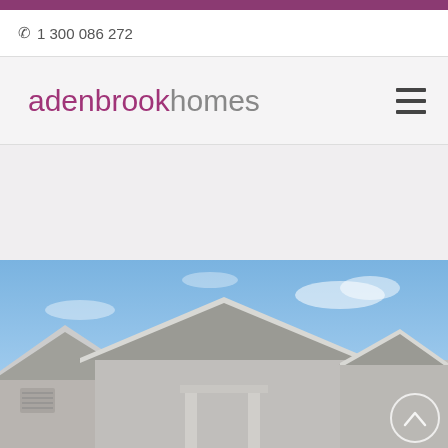1 300 086 272
[Figure (logo): Adenbrook Homes logo with text 'adenbrookhomes' and hamburger menu icon]
[Figure (photo): Exterior photo of a residential home showing rooflines against a blue sky, with a scroll-up button in the lower right corner]